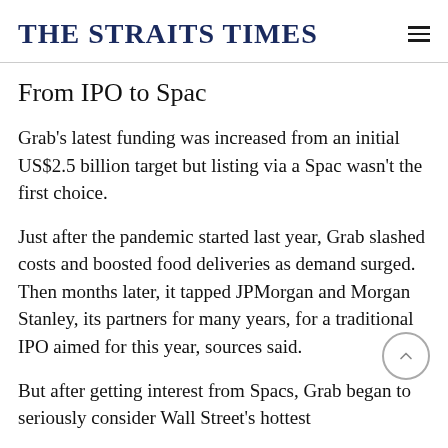THE STRAITS TIMES
From IPO to Spac
Grab's latest funding was increased from an initial US$2.5 billion target but listing via a Spac wasn't the first choice.
Just after the pandemic started last year, Grab slashed costs and boosted food deliveries as demand surged. Then months later, it tapped JPMorgan and Morgan Stanley, its partners for many years, for a traditional IPO aimed for this year, sources said.
But after getting interest from Spacs, Grab began to seriously consider Wall Street's hottest